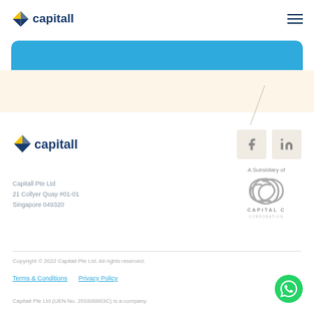capitall [navigation logo and hamburger menu]
[Figure (other): Blue rounded banner/hero area]
[Figure (logo): Capitall logo in footer area — yellow diamond icon with 'capitall' text in dark blue]
[Figure (other): Facebook and LinkedIn social media icon boxes]
A Subsidiary of
[Figure (logo): Capital C Corporation logo — geometric interlocking C shapes with 'CAPITAL C CORPORATION' text below]
Capitall Pte Ltd
21 Collyer Quay #01-01
Singapore 049320
Copyright © 2022 Capitall Pte Ltd. All rights reserved.
Terms & Conditions    Privacy Policy
Capitall Pte Ltd (UEN No. 201600003C) is a company